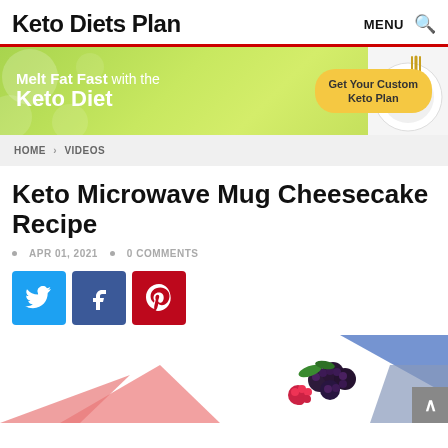Keto Diets Plan
[Figure (infographic): Green keto diet advertisement banner: 'Melt Fat Fast with the Keto Diet' with a yellow 'Get Your Custom Keto Plan' button and a plate with fork on the right]
HOME > VIDEOS
Keto Microwave Mug Cheesecake Recipe
APR 01, 2021  •  0 COMMENTS
[Figure (infographic): Social share buttons: Twitter (blue), Facebook (dark blue), Pinterest (red)]
[Figure (photo): Partially visible image showing berries (blackberries, raspberries) and colorful geometric shapes at the bottom of the page]